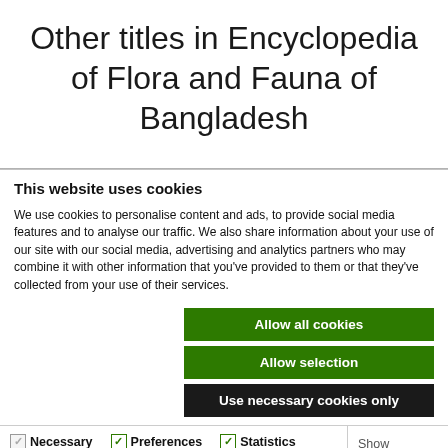Other titles in Encyclopedia of Flora and Fauna of Bangladesh
This website uses cookies
We use cookies to personalise content and ads, to provide social media features and to analyse our traffic. We also share information about your use of our site with our social media, advertising and analytics partners who may combine it with other information that you've provided to them or that they've collected from your use of their services.
Allow all cookies
Allow selection
Use necessary cookies only
Necessary  Preferences  Statistics  Marketing  Show details